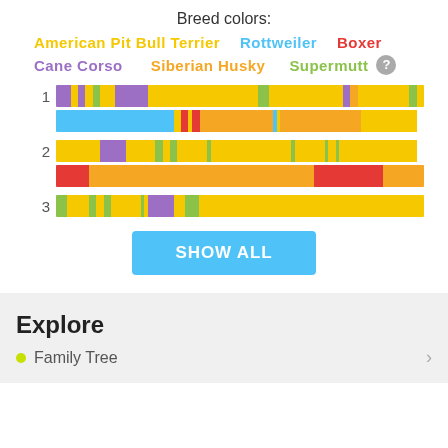Breed colors:
American Pit Bull Terrier   Rottweiler   Boxer
Cane Corso   Siberian Husky   Supermutt
[Figure (stacked-bar-chart): Three numbered rows (1, 2, 3), each with two stacked horizontal bars showing breed color proportions for American Pit Bull Terrier (yellow/gold), Rottweiler (cyan/blue), Boxer (red), Cane Corso (purple), Siberian Husky (orange), Supermutt (green).]
SHOW ALL
Explore
Family Tree